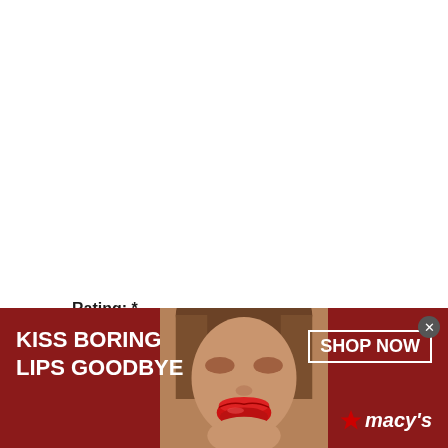Rating:  *
Summary:  While short and harmless, this was the
[Figure (photo): Macy's advertisement banner with red background showing a woman's face with red lips. Text reads 'KISS BORING LIPS GOODBYE' on the left, 'SHOP NOW' button on the right, and 'macy's' logo with star at bottom right. Close button (x) at top right.]